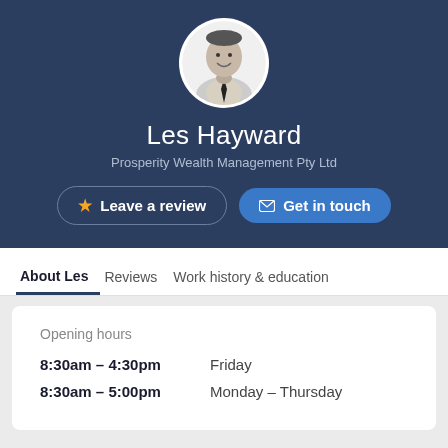[Figure (photo): Circular profile photo of Les Hayward, a man in a light checked shirt and dark tie, black and white photo]
Les Hayward
Prosperity Wealth Management Pty Ltd
Leave a review
Get in touch
About Les
Reviews
Work history & education
Opening hours
8:30am – 4:30pm   Friday
8:30am – 5:00pm   Monday – Thursday